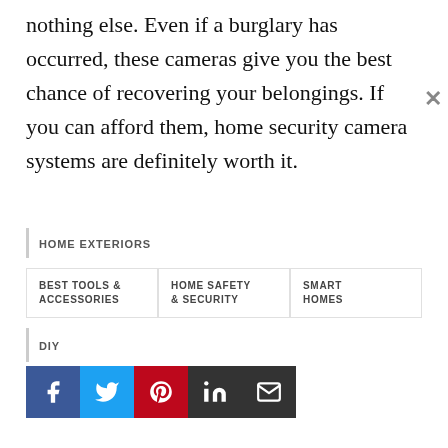nothing else. Even if a burglary has occurred, these cameras give you the best chance of recovering your belongings. If you can afford them, home security camera systems are definitely worth it.
HOME EXTERIORS
BEST TOOLS & ACCESSORIES
HOME SAFETY & SECURITY
SMART HOMES
DIY
[Figure (other): Social sharing buttons: Facebook, Twitter, Pinterest, LinkedIn, Email]